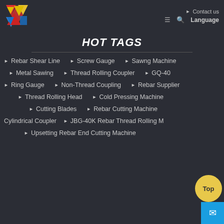Contact us | Language
[Figure (logo): Company logo with red, yellow, and blue triangular shapes]
HOT TAGS
Rebar Shear Line
Screw Gauge
Sawng Machine
Metal Sawing
Thread Rolling Coupler
GQ-40
Ring Gauge
Non-Thread Coupling
Rebar Supplier
Thread Rolling Head
Cold Pressing Machine
Cutting Blades
Rebar Cutting Machine
Cylindrical Coupler
JBG-40K Rebar Thread Rolling M…
Upsetting Rebar End Cutting Machine